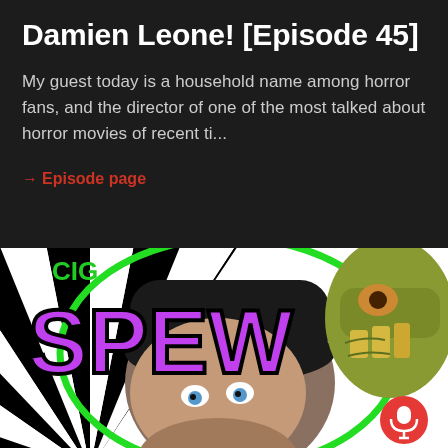Damien Leone! [Episode 45]
My guest today is a household name among horror fans, and the director of one of the most talked about horror movies of recent ti...
→ Episode page
[Figure (photo): Podcast episode thumbnail showing a man in a black beanie with wide blue eyes looking up, next to a green alien/creature head. Large purple 'SPEW' text and black-and-white spiral background. Small green circle border. Red microphone button in lower right corner.]